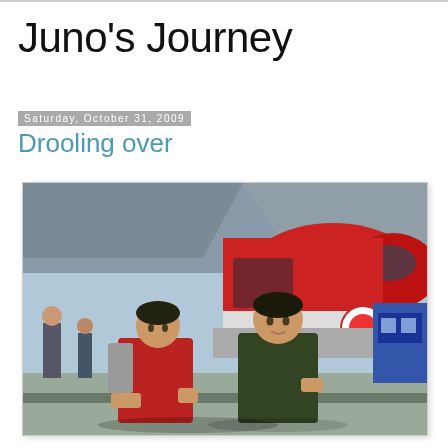Juno's Journey
Saturday, October 31, 2009
Drooling over
[Figure (photo): Two boys standing on a train platform in front of a red high-speed train (Frecciarossa/Thalys style). The boy on the left wears a red jacket and carries a backpack. The boy on the right wears a dark jacket. Other people and a blue train are visible in the background.]